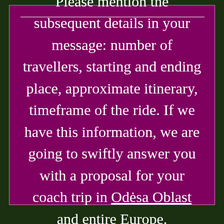Please mention the subsequent details in your message: number of travellers, starting and ending place, approximate itinerary, timeframe of the ride. If we have this information, we are going to swiftly answer you with a proposal for your coach trip in Odėsa Oblast and entire Europe.